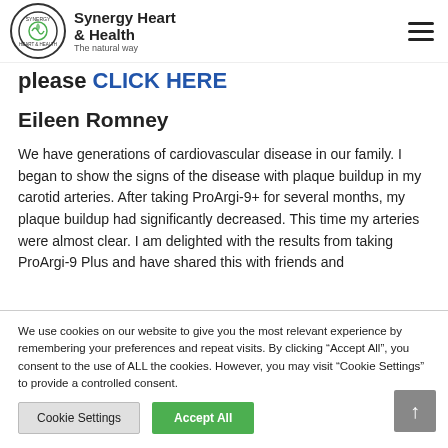Synergy Heart & Health — The natural way
please CLICK HERE
Eileen Romney
We have generations of cardiovascular disease in our family.  I began to show the signs of the disease with plaque buildup in my carotid arteries.  After taking ProArgi-9+ for several months, my plaque buildup had significantly decreased.  This time my arteries were almost clear.  I am delighted with the results from taking ProArgi-9 Plus and have shared this with friends and
We use cookies on our website to give you the most relevant experience by remembering your preferences and repeat visits. By clicking "Accept All", you consent to the use of ALL the cookies. However, you may visit "Cookie Settings" to provide a controlled consent.